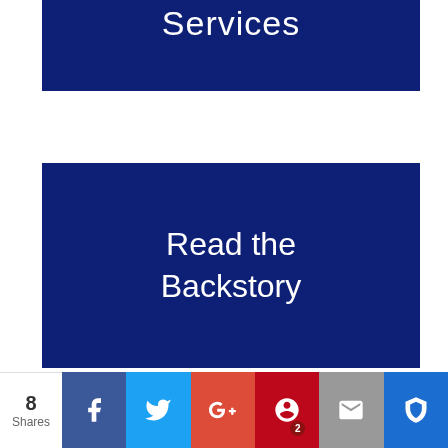[Figure (other): Dark navy blue banner with white text reading 'Services' (partially visible at top)]
[Figure (other): Dark navy blue banner with white text reading 'Read the Backstory']
[Figure (other): Social sharing bar with share count '8 Shares' and buttons for Facebook, Twitter, Google+, Pinterest (2), Email, and Kindred/Crown icon]